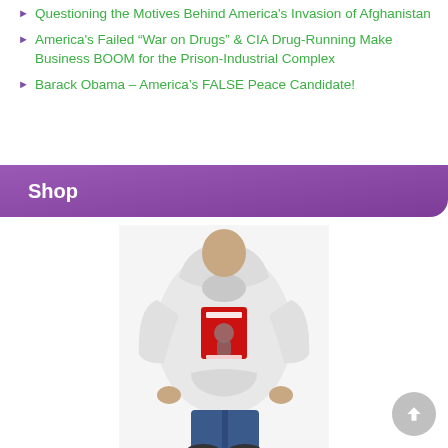Questioning the Motives Behind America's Invasion of Afghanistan
America's Failed “War on Drugs” & CIA Drug-Running Make Business BOOM for the Prison-Industrial Complex
Barack Obama – America’s FALSE Peace Candidate!
Shop
[Figure (photo): Man wearing a white hoodie with a red graphic print on the chest area]
Visit Rayn’s Shop!